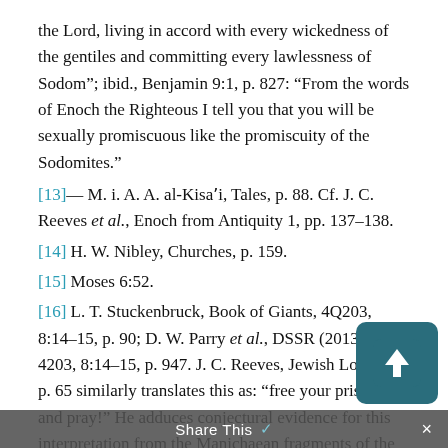the Lord, living in accord with every wickedness of the gentiles and committing every lawlessness of Sodom”; ibid., Benjamin 9:1, p. 827: “From the words of Enoch the Righteous I tell you that you will be sexually promiscuous like the promiscuity of the Sodomites.”
[13]— M. i. A. A. al-Kisaʼi, Tales, p. 88. Cf. J. C. Reeves et al., Enoch from Antiquity 1, pp. 137–138.
[14] H. W. Nibley, Churches, p. 159.
[15] Moses 6:52.
[16] L. T. Stuckenbruck, Book of Giants, 4Q203, 8:14–15, p. 90; D. W. Parry et al., DSSR (2013), 4203, 8:14–15, p. 947. J. C. Reeves, Jewish Lore, p. 65 similarly translates this as: “free your prisoners and pray!” He adduces conjectural evidence for this interpretation from the Manichaean fragments of the Book of Giants that features a revised text from a...